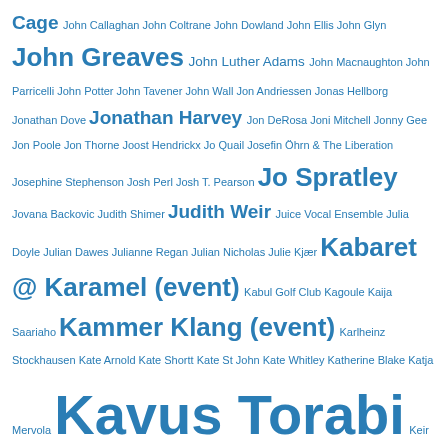Cage John Callaghan John Coltrane John Dowland John Ellis John Glyn John Greaves John Luther Adams John Macnaughton John Parricelli John Potter John Tavener John Wall Jon Andriessen Jonas Hellborg Jonathan Dove Jonathan Harvey Jon DeRosa Joni Mitchell Jonny Gee Jon Poole Jon Thorne Joost Hendrickx Jo Quail Josefin Öhrn & The Liberation Josephine Stephenson Josh Perl Josh T. Pearson Jo Spratley Jovana Backovic Judith Shimer Judith Weir Juice Vocal Ensemble Julia Doyle Julian Dawes Julianne Regan Julian Nicholas Julie Kjær Kabaret @ Karamel (event) Kabul Golf Club Kagoule Kaija Saariaho Kammer Klang (event) Karlheinz Stockhausen Kate Arnold Kate Shortt Kate St John Kate Whitley Katherine Blake Katja Mervola Kavus Torabi Keir Cooper Keith Burstein Keith Moliné Keith Tippett Kemper Norton Kev Hopper Kevin Plummer Khyam Allami Killing Joke kinda blue King Crimson Kings Place (venue) - Kings Cross - London Kingston-upon-Hull (England) Kiran Leonard Kitchens Of Distinction Kit Downes Klavikon Knifeworld Kraftwerk Kraków (Poland) Kronos Quartet Kuro Lady Maisery Laetitia Sadier LaHost Laila Woozeer Laish Lake of Puppies